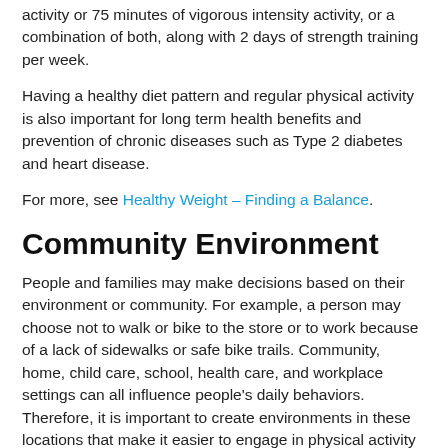activity or 75 minutes of vigorous intensity activity, or a combination of both, along with 2 days of strength training per week.
Having a healthy diet pattern and regular physical activity is also important for long term health benefits and prevention of chronic diseases such as Type 2 diabetes and heart disease.
For more, see Healthy Weight – Finding a Balance.
Community Environment
People and families may make decisions based on their environment or community. For example, a person may choose not to walk or bike to the store or to work because of a lack of sidewalks or safe bike trails. Community, home, child care, school, health care, and workplace settings can all influence people's daily behaviors. Therefore, it is important to create environments in these locations that make it easier to engage in physical activity and eat a healthy diet.
Watch The Obesity Epidemic to learn about the many community environmental factors that have contributed to the obesity epidemic, as well as several community initiatives taking place to